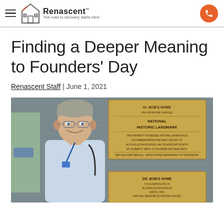Renascent — The road to recovery starts here.
Finding a Deeper Meaning to Founders' Day
Renascent Staff | June 1, 2021
[Figure (photo): A smiling man wearing glasses and a light blue shirt with a lanyard, standing in front of a building with historic landmark plaques reading 'Dr. Bob's Home - National Historic Landmark' mounted on a dark grey siding wall.]